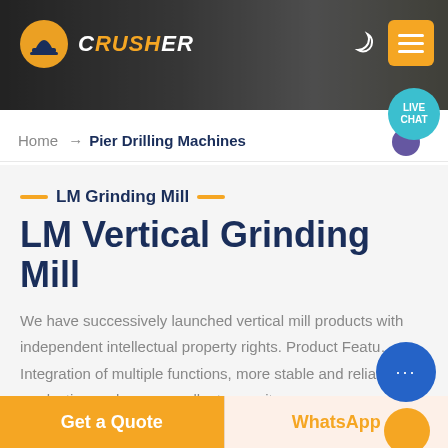[Figure (screenshot): Website header banner with dark rocky background, orange logo icon, site name 'CRUSHER' in white/italic, moon icon, orange menu button, and teal live chat bubble]
Home → Pier Drilling Machines
LM Grinding Mill
LM Vertical Grinding Mill
We have successively launched vertical mill products with independent intellectual property rights. Product Features: Integration of multiple functions, more stable and reliable, production and more excellent capacity